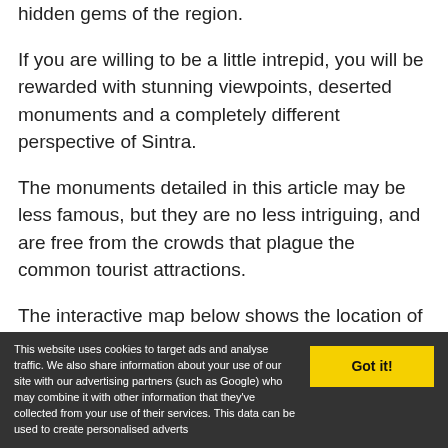hidden gems of the region.
If you are willing to be a little intrepid, you will be rewarded with stunning viewpoints, deserted monuments and a completely different perspective of Sintra.
The monuments detailed in this article may be less famous, but they are no less intriguing, and are free from the crowds that plague the common tourist attractions.
The interactive map below shows the location of these hidden gems and lesser-known sights of the Sintra
This website uses cookies to target ads and analyse traffic. We also share information about your use of our site with our advertising partners (such as Google) who may combine it with other information that they've collected from your use of their services. This data can be used to create personalised adverts